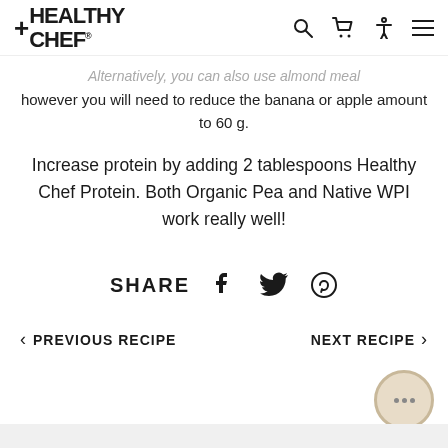+HEALTHY CHEF
Alternatively, you can also use almond meal however you will need to reduce the banana or apple amount to 60 g.
Increase protein by adding 2 tablespoons Healthy Chef Protein. Both Organic Pea and Native WPI work really well!
SHARE
PREVIOUS RECIPE
NEXT RECIPE